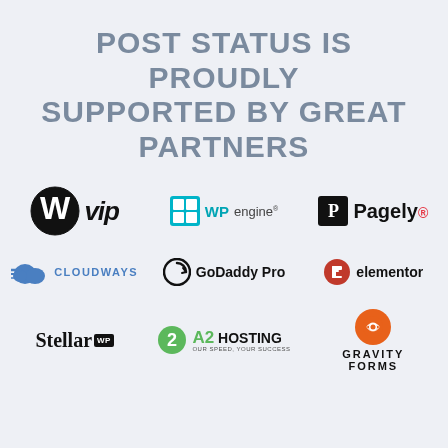POST STATUS IS PROUDLY SUPPORTED BY GREAT PARTNERS
[Figure (logo): WordPress VIP logo]
[Figure (logo): WP Engine logo]
[Figure (logo): Pagely logo]
[Figure (logo): Cloudways logo]
[Figure (logo): GoDaddy Pro logo]
[Figure (logo): Elementor logo]
[Figure (logo): StellarWP logo]
[Figure (logo): A2 Hosting logo]
[Figure (logo): Gravity Forms logo]